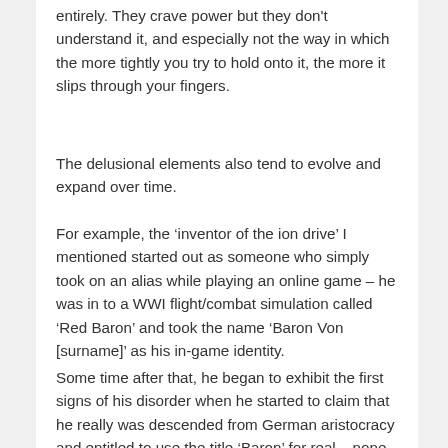entirely. They crave power but they don't understand it, and especially not the way in which the more tightly you try to hold onto it, the more it slips through your fingers.
The delusional elements also tend to evolve and expand over time.
For example, the ‘inventor of the ion drive’ I mentioned started out as someone who simply took on an alias while playing an online game – he was in to a WWI flight/combat simulation called ‘Red Baron’ and took the name ‘Baron Von [surname]’ as his in-game identity.
Some time after that, he began to exhibit the first signs of his disorder when he started to claim that he really was descended from German aristocracy and entitled to use the title ‘Baron’ for real – none of which was true, of course, but he did run the whole fake genealogy thing for a while.